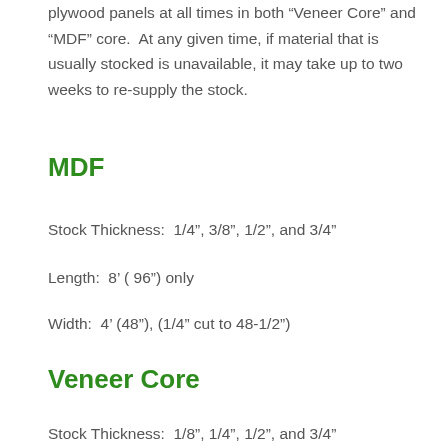plywood panels at all times in both “Veneer Core” and “MDF” core.  At any given time, if material that is usually stocked is unavailable, it may take up to two weeks to re-supply the stock.
MDF
Stock Thickness:  1/4”, 3/8”, 1/2”, and 3/4”
Length:  8’ ( 96”) only
Width:  4’ (48”), (1/4” cut to 48-1/2”)
Veneer Core
Stock Thickness:  1/8”, 1/4”, 1/2”, and 3/4”